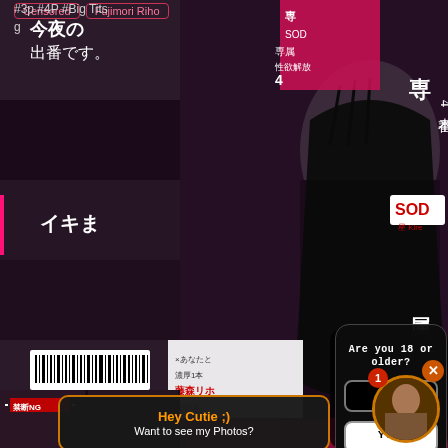[Figure (photo): Product cover image for adult video KIRE-074 featuring Japanese performer in black dress, SOD label branding, with Japanese text overlay]
KIRE-074
Censored
Fujimori Riho
#3p #4P #Big Tits g
Are you 18 or older?
NO
YES
Hey Cutie ;) Want to see my Photos?